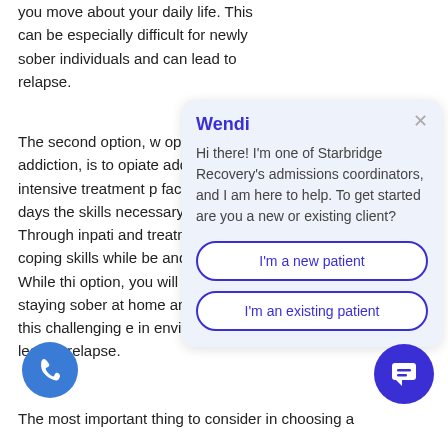you move about your daily life. This can be especially difficult for newly sober individuals and can lead to relapse.
The second option, w opiate addiction, is to opiate addiction trea intensive treatment p facility for 30-90 days the skills necessary t world. Through inpati and treatment, you ca coping skills while be and treated. While thi option, you will still b staying sober at home and for some, this challenging e in environment can lead to relapse.
[Figure (screenshot): Chat widget popup from Wendi, an admissions coordinator for Starbridge Recovery. Contains greeting message and two buttons: 'I'm a new patient' and 'I'm an existing patient'. Has a close (X) button in top right corner.]
The most important thing to consider in choosing a